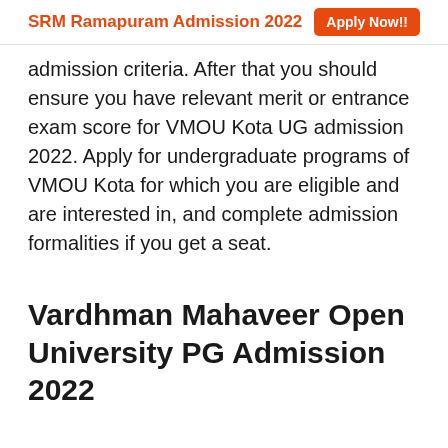SRM Ramapuram Admission 2022  Apply Now!!
admission criteria. After that you should ensure you have relevant merit or entrance exam score for VMOU Kota UG admission 2022. Apply for undergraduate programs of VMOU Kota for which you are eligible and are interested in, and complete admission formalities if you get a seat.
Vardhman Mahaveer Open University PG Admission 2022